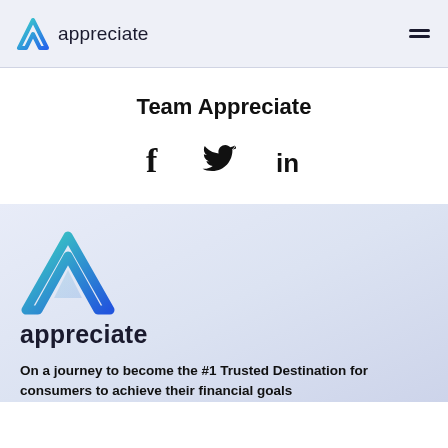appreciate
Team Appreciate
[Figure (infographic): Social media icons: Facebook (f), Twitter (bird), LinkedIn (in)]
[Figure (logo): Appreciate logo: large teal-to-blue triangle icon above the wordmark 'appreciate']
On a journey to become the #1 Trusted Destination for consumers to achieve their financial goals